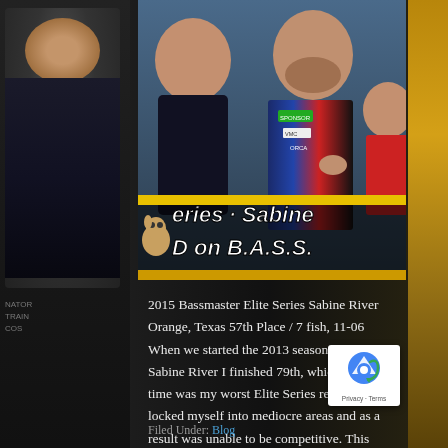[Figure (photo): Photo from 2015 Bassmaster Elite Series event showing anglers at what appears to be a weigh-in or signing event. Two male anglers and a female fan are visible. A tournament logo overlay reads 'eries - Sabine' and 'D on B.A.S.S.' in bold italic white font with a cartoon dog mascot.]
2015 Bassmaster Elite Series Sabine River Orange, Texas 57th Place / 7 fish, 11-06 When we started the 2013 season on the Sabine River I finished 79th, which at the time was my worst Elite Series result. I'd locked myself into mediocre areas and as a result was unable to be competitive. This time I vowed […]
Filed Under: Blog